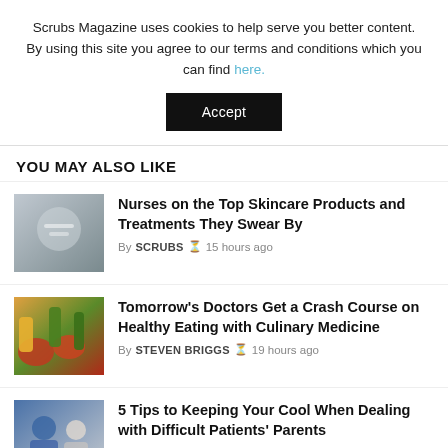Scrubs Magazine uses cookies to help serve you better content. By using this site you agree to our terms and conditions which you can find here.
Accept
YOU MAY ALSO LIKE
[Figure (photo): Close-up of hands with medical/skincare tools on grey background]
Nurses on the Top Skincare Products and Treatments They Swear By
By SCRUBS  15 hours ago
[Figure (photo): Fresh vegetables and produce including carrots, tomatoes, and greens]
Tomorrow's Doctors Get a Crash Course on Healthy Eating with Culinary Medicine
By STEVEN BRIGGS  19 hours ago
[Figure (photo): Healthcare professional with patient]
5 Tips to Keeping Your Cool When Dealing with Difficult Patients' Parents